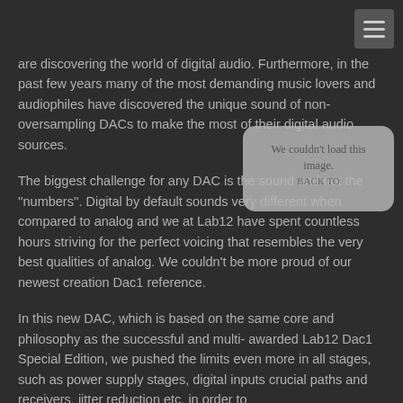[Figure (other): Navigation hamburger menu button in top right corner]
are discovering the world of digital audio. Furthermore, in the past few years many of the most demanding music lovers and audiophiles have discovered the unique sound of non-oversampling DACs to make the most of their digital audio sources.
The biggest challenge for any DAC is the sound and not the "numbers". Digital by default sounds very different when compared to analog and we at Lab12 have spent countless hours striving for the perfect voicing that resembles the very best qualities of analog. We couldn't be more proud of our newest creation Dac1 reference.
In this new DAC, which is based on the same core and philosophy as the successful and multi- awarded Lab12 Dac1 Special Edition, we pushed the limits even more in all stages, such as power supply stages, digital inputs crucial paths and receivers, jitter reduction etc. in order to